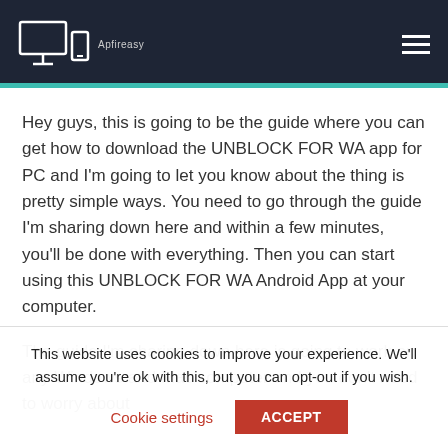Apfireasy (logo/site header)
Hey guys, this is going to be the guide where you can get how to download the UNBLOCK FOR WA app for PC and I'm going to let you know about the thing is pretty simple ways. You need to go through the guide I'm sharing down here and within a few minutes, you'll be done with everything. Then you can start using this UNBLOCK FOR WA Android App at your computer.
The guide I'm sharing down here is going to work on any Windows and Mac computer and you don't need to worry about
This website uses cookies to improve your experience. We'll assume you're ok with this, but you can opt-out if you wish. Cookie settings ACCEPT